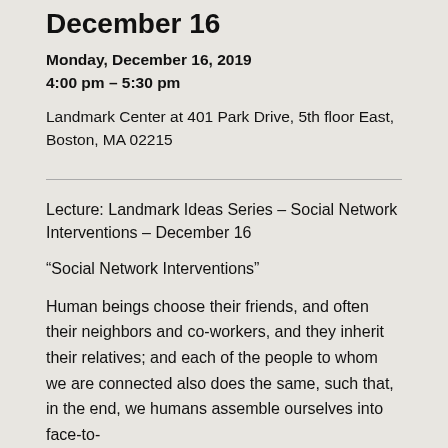December 16
Monday, December 16, 2019
4:00 pm – 5:30 pm
Landmark Center at 401 Park Drive, 5th floor East, Boston, MA 02215
Lecture: Landmark Ideas Series – Social Network Interventions – December 16
“Social Network Interventions”
Human beings choose their friends, and often their neighbors and co-workers, and they inherit their relatives; and each of the people to whom we are connected also does the same, such that, in the end, we humans assemble ourselves into face-to-